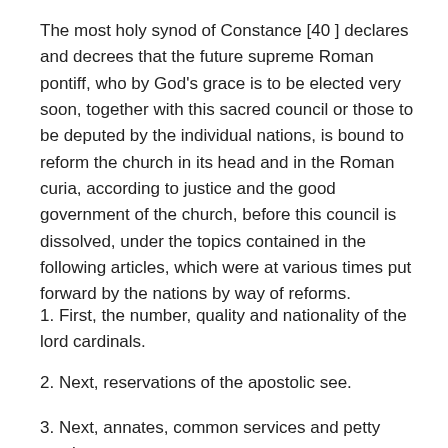The most holy synod of Constance [40 ] declares and decrees that the future supreme Roman pontiff, who by God's grace is to be elected very soon, together with this sacred council or those to be deputed by the individual nations, is bound to reform the church in its head and in the Roman curia, according to justice and the good government of the church, before this council is dissolved, under the topics contained in the following articles, which were at various times put forward by the nations by way of reforms.
1. First, the number, quality and nationality of the lord cardinals.
2. Next, reservations of the apostolic see.
3. Next, annates, common services and petty services.